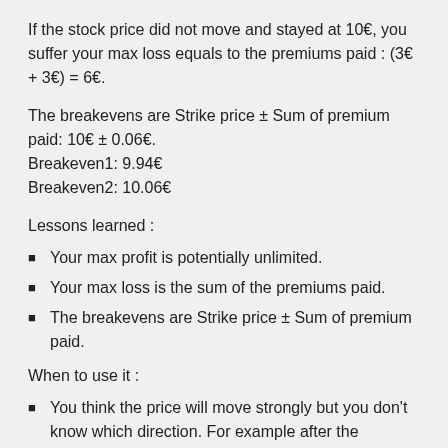If the stock price did not move and stayed at 10€, you suffer your max loss equals to the premiums paid : (3€ + 3€) = 6€.
The breakevens are Strike price ± Sum of premium paid: 10€ ± 0.06€.
Breakeven1: 9.94€
Breakeven2: 10.06€
Lessons learned :
Your max profit is potentially unlimited.
Your max loss is the sum of the premiums paid.
The breakevens are Strike price ± Sum of premium paid.
When to use it :
You think the price will move strongly but you don't know which direction. For example after the earnings announcement. You can buy the straddle a few weeks